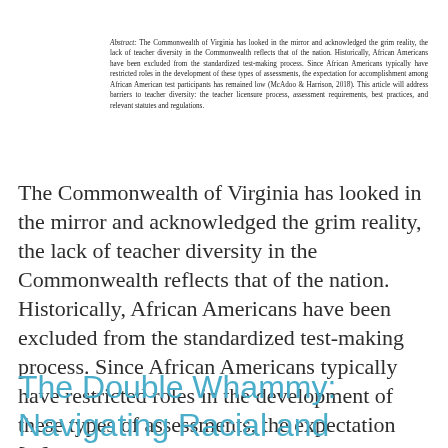Abstract: The Commonwealth of Virginia has looked in the mirror and acknowledged the grim reality, the lack of teacher diversity in the Commonwealth reflects that of the nation. Historically, African Americans have been excluded from the standardized test-making process. Since African Americans typically have restricted roles in the development of these types of assessments, the expectation for accomplishment among African American test participants has remained low (McAdoo & Harrison, 2018). This article will address barriers to teacher diversity: the teacher licensure process, assessment requirements, best practices, and relevant statutes and regulations.
The Commonwealth of Virginia has looked in the mirror and acknowledged the grim reality, the lack of teacher diversity in the Commonwealth reflects that of the nation. Historically, African Americans have been excluded from the standardized test-making process. Since African Americans typically have restricted roles in the development of these types of assessments, the expectation [...]
The Double Whammy: Navigating Racial and Gender